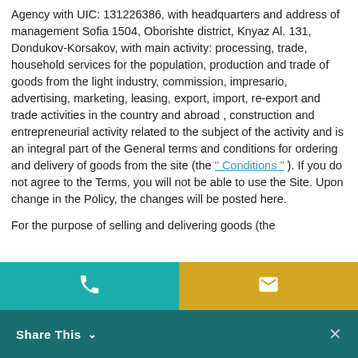Agency with UIC: 131226386, with headquarters and address of management Sofia 1504, Oborishte district, Knyaz Al. 131, Dondukov-Korsakov, with main activity: processing, trade, household services for the population, production and trade of goods from the light industry, commission, impresario, advertising, marketing, leasing, export, import, re-export and trade activities in the country and abroad , construction and entrepreneurial activity related to the subject of the activity and is an integral part of the General terms and conditions for ordering and delivery of goods from the site (the " Conditions " ). If you do not agree to the Terms, you will not be able to use the Site. Upon change in the Policy, the changes will be posted here.
For the purpose of selling and delivering goods (the